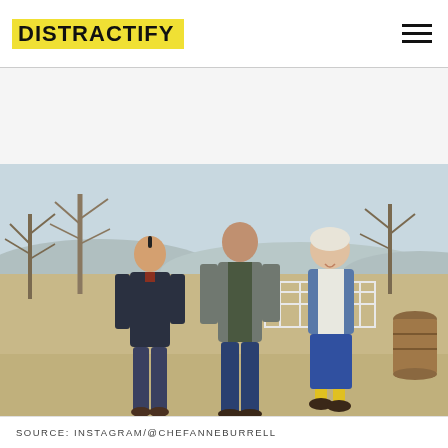DISTRACTIFY
[Figure (photo): Three people walking outdoors on a dirt path with bare trees and a white fence in the background. Two men and a woman, all casually dressed in jeans and jackets, smiling and walking together.]
SOURCE: INSTAGRAM/@CHEFANNEBURRELL